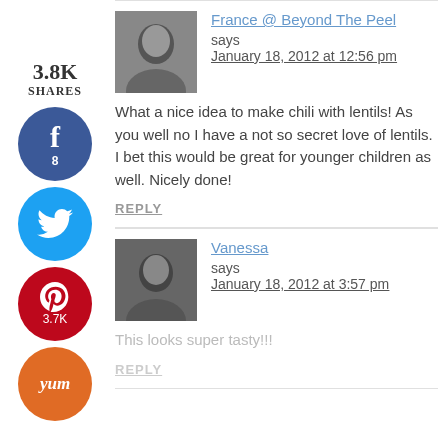[Figure (infographic): Social share sidebar with count 3.8K SHARES, Facebook button with 8, Twitter button, Pinterest button with 3.7K, Yum button]
France @ Beyond The Peel says
January 18, 2012 at 12:56 pm
What a nice idea to make chili with lentils! As you well no I have a not so secret love of lentils. I bet this would be great for younger children as well. Nicely done!
REPLY
Vanessa says
January 18, 2012 at 3:57 pm
This looks super tasty!!!
REPLY